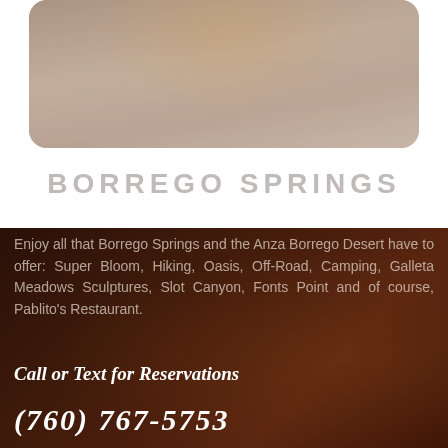[Figure (photo): Top photo of desert/nature scene with muted brownish-gray tones, rounded corners]
BORREGO SPRINGS
Enjoy all that Borrego Springs and the Anza Borrego Desert have to offer: Super Bloom, Hiking, Oasis, Off-Road, Camping, Galleta Meadows Sculptures, Slot Canyon, Fonts Point and of course, Pablito's Restaurant.
Call or Text for Reservations
(760) 767-5753